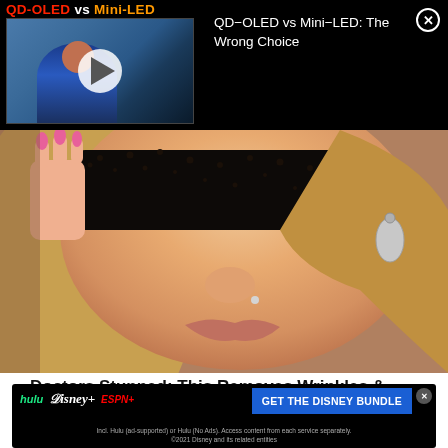[Figure (screenshot): Top ad banner: QD-OLED vs Mini-LED video thumbnail on left (person in blue jacket crouching), title 'QD-OLED vs Mini-LED: The Wrong Choice' on right, dark background]
[Figure (photo): Close-up photo of woman with dark sparkly/dotted eyebrow makeup being applied, wearing silver drop earring, blonde hair, pink nail polish]
Doctors Stunned: This Removes Wrinkles & Eye-bags Like Crazy (Try Tonight)
Trending New Finds
Report an ad
[Figure (screenshot): Disney Bundle advertisement banner: hulu Disney+ ESPN+ logos, 'GET THE DISNEY BUNDLE' CTA button, fine print about Hulu ad-supported or no ads access]